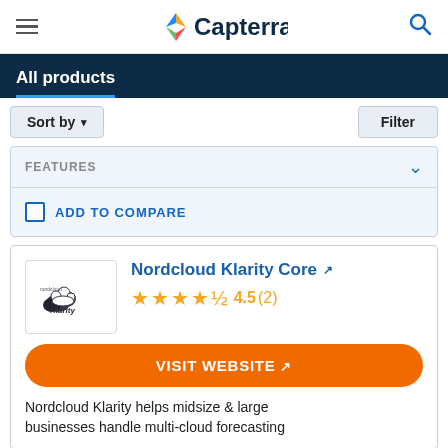Capterra
All products
Sort by ▾   Filter
FEATURES
ADD TO COMPARE
Nordcloud Klarity Core
4.5 (2)
VISIT WEBSITE
Nordcloud Klarity helps midsize & large businesses handle multi-cloud forecasting